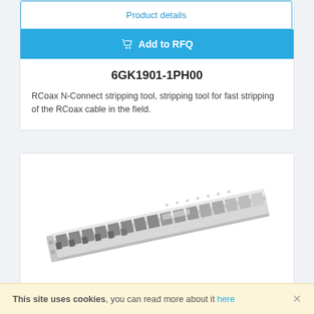Product details
Add to RFQ
6GK1901-1PH00
RCoax N-Connect stripping tool, stripping tool for fast stripping of the RCoax cable in the field.
[Figure (photo): Photo of a Siemens industrial cable management/stripping tool, a long metallic rack-like device with multiple connectors or slots along its length, shown at an angle.]
This site uses cookies, you can read more about it here